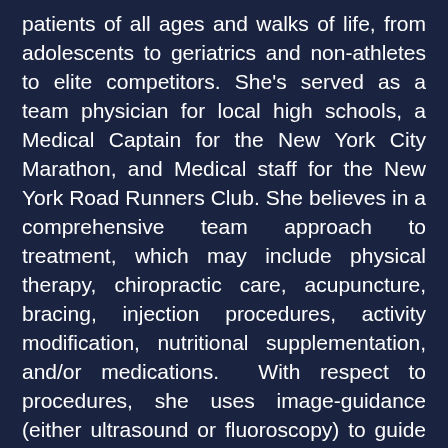patients of all ages and walks of life, from adolescents to geriatrics and non-athletes to elite competitors. She's served as a team physician for local high schools, a Medical Captain for the New York City Marathon, and Medical staff for the New York Road Runners Club. She believes in a comprehensive team approach to treatment, which may include physical therapy, chiropractic care, acupuncture, bracing, injection procedures, activity modification, nutritional supplementation, and/or medications.  With respect to procedures, she uses image-guidance (either ultrasound or fluoroscopy) to guide the medication to the target, facilitating efficacy. She has a specific interest in regenerative medicine and currently performs Platelet Rich Plasma injections. She is working to further her skills so that she can offer additional regenerative procedures to her patients in the near future. She performs Prolotherapy, is amidst certification in Lyftogt Perineural Injection Treatment, and is hopeful to offer